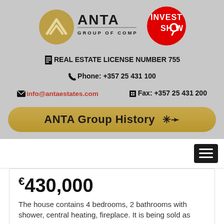[Figure (logo): ANTA Group of Companies logo with gold circular emblem and Invest Show red circular badge]
REAL ESTATE LICENSE NUMBER 755
Phone: +357 25 431 100
info@antaestates.com    Fax: +357 25 431 200
ANTA Group History
€430,000
The house contains 4 bedrooms, 2 bathrooms with shower, central heating, fireplace. It is being sold as